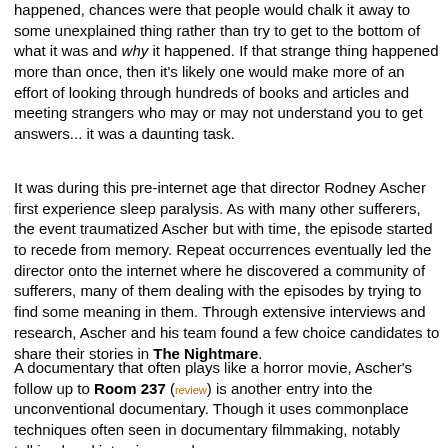happened, chances were that people would chalk it away to some unexplained thing rather than try to get to the bottom of what it was and why it happened. If that strange thing happened more than once, then it's likely one would make more of an effort of looking through hundreds of books and articles and meeting strangers who may or may not understand you to get answers... it was a daunting task.
It was during this pre-internet age that director Rodney Ascher first experience sleep paralysis. As with many other sufferers, the event traumatized Ascher but with time, the episode started to recede from memory. Repeat occurrences eventually led the director onto the internet where he discovered a community of sufferers, many of them dealing with the episodes by trying to find some meaning in them. Through extensive interviews and research, Ascher and his team found a few choice candidates to share their stories in The Nightmare.
A documentary that often plays like a horror movie, Ascher's follow up to Room 237 (review) is another entry into the unconventional documentary. Though it uses commonplace techniques often seen in documentary filmmaking, notably talking head interviews and re...